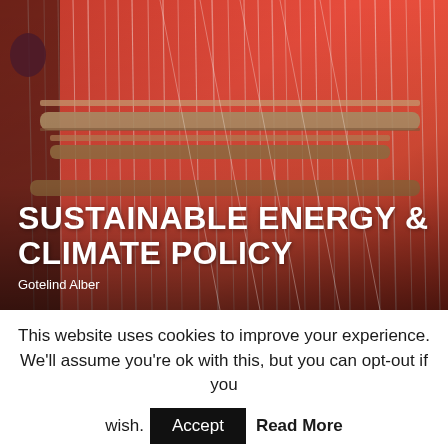[Figure (photo): Close-up photo of a traditional loom with red/orange threads and wooden rods, used as a decorative background image for a book or website cover about Sustainable Energy & Climate Policy]
SUSTAINABLE ENERGY & CLIMATE POLICY
Gotelind Alber
This website uses cookies to improve your experience. We'll assume you're ok with this, but you can opt-out if you wish. Accept Read More